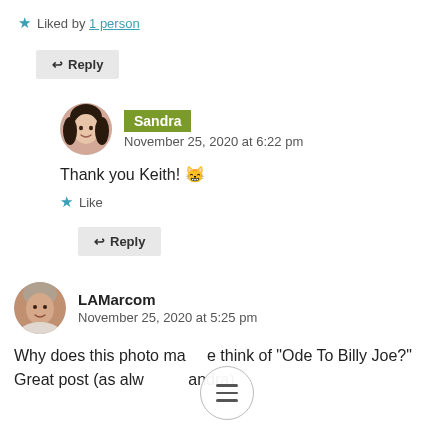★ Liked by 1 person
↩ Reply
Sandra
November 25, 2020 at 6:22 pm
Thank you Keith! 😸
★ Like
↩ Reply
LAMarcom
November 25, 2020 at 5:25 pm
Why does this photo make think of "Ode To Billy Joe?" Great post (as alw Sandra)